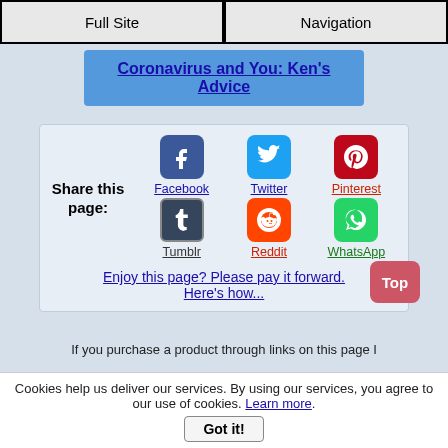Full Site | Navigation
Coronavirus and You: Ken's Advice
[Figure (other): Share this page section with social media icons: Facebook, Twitter, Pinterest, Tumblr, Reddit, WhatsApp, and a pay-it-forward link]
If you purchase a product through links on this page I
Cookies help us deliver our services. By using our services, you agree to our use of cookies. Learn more. Got it!